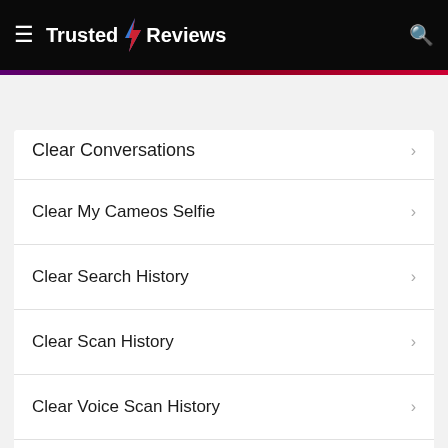Trusted Reviews
Clear Conversations
Clear My Cameos Selfie
Clear Search History
Clear Scan History
Clear Voice Scan History
Clear Sticker Searches
Clear Shopping History